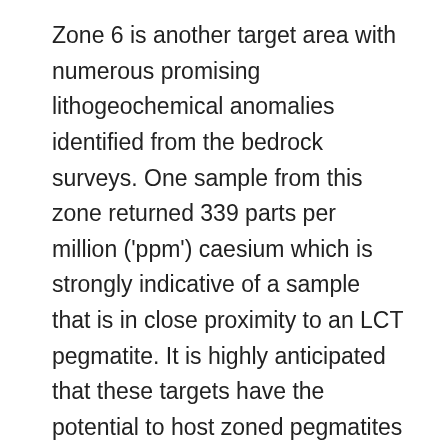Zone 6 is another target area with numerous promising lithogeochemical anomalies identified from the bedrock surveys. One sample from this zone returned 339 parts per million ('ppm') caesium which is strongly indicative of a sample that is in close proximity to an LCT pegmatite. It is highly anticipated that these targets have the potential to host zoned pegmatites rich in pollucite, a caesium bearing mineral because the deposit model for the project suggests the evolving trend for pegmatites is to the east and southeast.